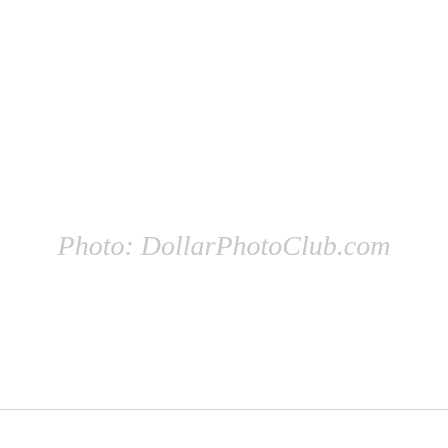[Figure (photo): Placeholder image with watermark text 'Photo: DollarPhotoClub.com' on a white background]